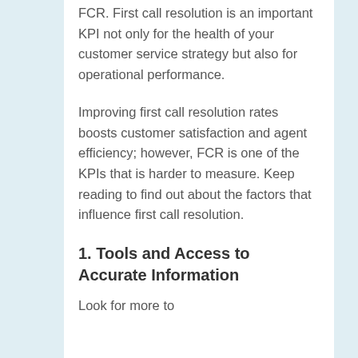FCR. First call resolution is an important KPI not only for the health of your customer service strategy but also for operational performance.
Improving first call resolution rates boosts customer satisfaction and agent efficiency; however, FCR is one of the KPIs that is harder to measure. Keep reading to find out about the factors that influence first call resolution.
1. Tools and Access to Accurate Information
Look for more to...